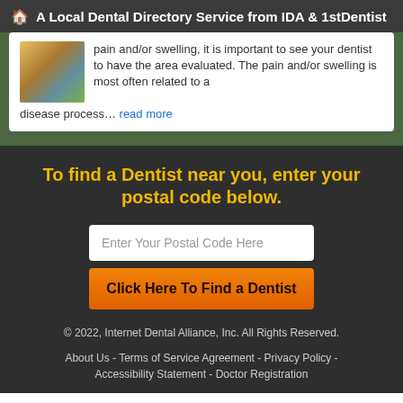A Local Dental Directory Service from IDA & 1stDentist
pain and/or swelling, it is important to see your dentist to have the area evaluated. The pain and/or swelling is most often related to a disease process… read more
To find a Dentist near you, enter your postal code below.
Enter Your Postal Code Here
Click Here To Find a Dentist
© 2022, Internet Dental Alliance, Inc. All Rights Reserved.
About Us - Terms of Service Agreement - Privacy Policy - Accessibility Statement - Doctor Registration